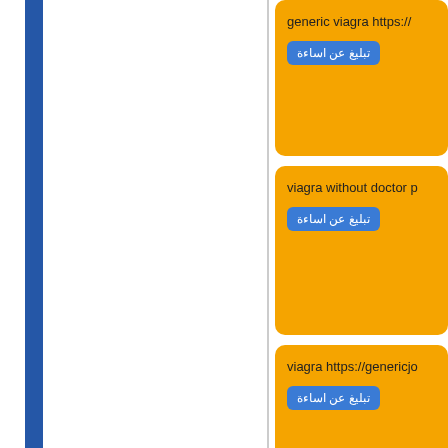[Figure (screenshot): Web page showing spam comment posts on an orange background with Arabic report buttons. Left side is white with a blue vertical bar. Right side shows orange card panels with truncated spam text and Arabic 'تبليغ عن اساءة' (report abuse) buttons.]
generic viagra https://
تبليغ عن اساءة
viagra without doctor p
تبليغ عن اساءة
viagra https://genericjo
تبليغ عن اساءة
generic viagra https://